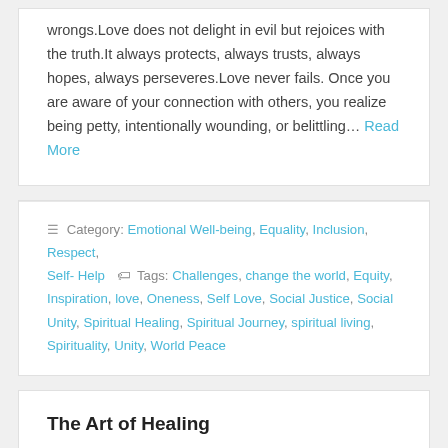wrongs.Love does not delight in evil but rejoices with the truth.It always protects, always trusts, always hopes, always perseveres.Love never fails. Once you are aware of your connection with others, you realize being petty, intentionally wounding, or belittling... Read More
Category: Emotional Well-being, Equality, Inclusion, Respect, Self- Help   Tags: Challenges, change the world, Equity, Inspiration, love, Oneness, Self Love, Social Justice, Social Unity, Spiritual Healing, Spiritual Journey, spiritual living, Spirituality, Unity, World Peace
The Art of Healing
“We each have a story of wounds.Our wounds need to be